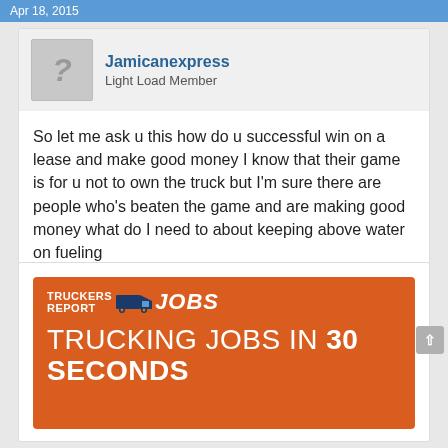Apr 18, 2015
Jamicanexpress
Light Load Member
So let me ask u this how do u successful win on a lease and make good money I know that their game is for u not to own the truck but I'm sure there are people who's beaten the game and are making good money what do I need to about keeping above water on fueling
Apr 18, 2015   + Quote   Reply
[Figure (infographic): Truckers Report Jobs advertisement banner with orange background showing 'TRUCKERS REPORT JOBS' logo with truck icon and text 'TRUCKING JOBS IN 30 SECONDS']